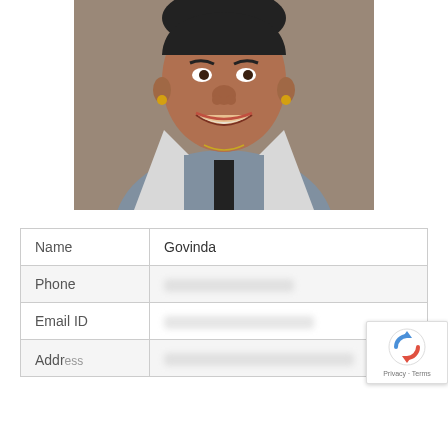[Figure (photo): Close-up photo of a smiling Indian man wearing a grey shirt with white collar and black tie/suspenders, with gold earrings, cropped from chin to chest]
| Name | Govinda |
| Phone | [blurred] |
| Email ID | [blurred] |
| Address | [blurred] |